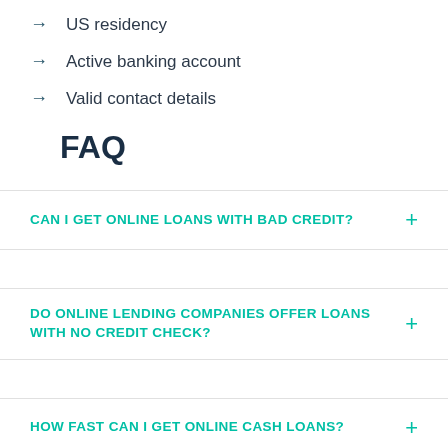→ US residency
→ Active banking account
→ Valid contact details
FAQ
CAN I GET ONLINE LOANS WITH BAD CREDIT?
DO ONLINE LENDING COMPANIES OFFER LOANS WITH NO CREDIT CHECK?
HOW FAST CAN I GET ONLINE CASH LOANS?